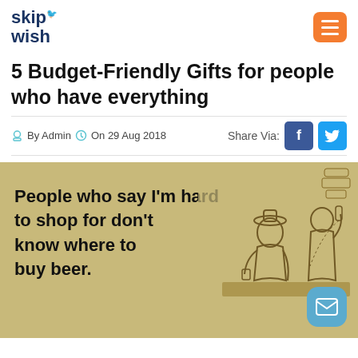skip wish
5 Budget-Friendly Gifts for people who have everything
By Admin  On 29 Aug 2018
[Figure (illustration): Humorous ecard image with tan/beige background. Text reads: 'People who say I'm hard to shop for don't know where to buy beer.' On the right side is a vintage illustration of two men at a bar, one pouring a drink.]